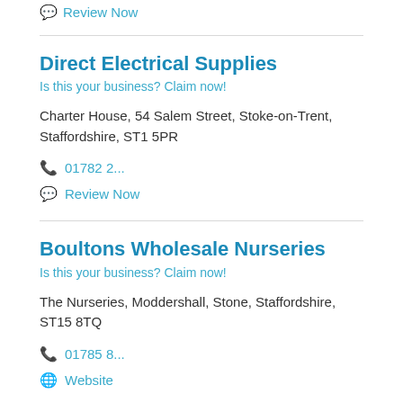Review Now
Direct Electrical Supplies
Is this your business? Claim now!
Charter House, 54 Salem Street, Stoke-on-Trent, Staffordshire, ST1 5PR
01782 2...
Review Now
Boultons Wholesale Nurseries
Is this your business? Claim now!
The Nurseries, Moddershall, Stone, Staffordshire, ST15 8TQ
01785 8...
Website